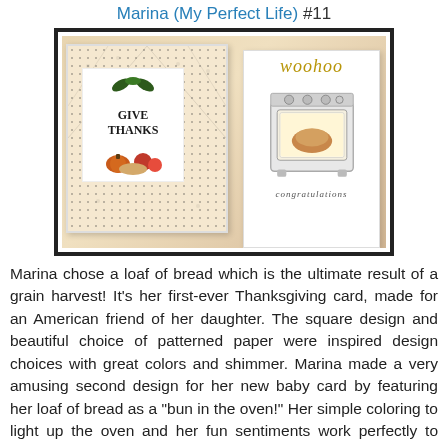Marina (My Perfect Life) #11
[Figure (photo): Two handmade greeting cards: left card shows 'Give Thanks' with autumn produce (pumpkins, tomatoes) on patterned paper with a white frame; right card shows 'woohoo congratulations' with an illustrated oven containing a loaf of bread (bun in the oven theme), displayed on a wooden surface.]
Marina chose a loaf of bread which is the ultimate result of a grain harvest! It's her first-ever Thanksgiving card, made for an American friend of her daughter. The square design and beautiful choice of patterned paper were inspired design choices with great colors and shimmer. Marina made a very amusing second design for her new baby card by featuring her loaf of bread as a "bun in the oven!" Her simple coloring to light up the oven and her fun sentiments work perfectly to complete the design!